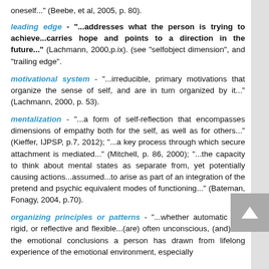oneself..." (Beebe, et al, 2005, p. 80).
leading edge - "...addresses what the person is trying to achieve...carries hope and points to a direction in the future..." (Lachmann, 2000,p.ix). (see "selfobject dimension", and "trailing edge".
motivational system - "...irreducible, primary motivations that organize the sense of self, and are in turn organized by it..." (Lachmann, 2000, p. 53).
mentalization - "...a form of self-reflection that encompasses dimensions of empathy both for the self, as well as for others..." (Kieffer, IJPSP, p.7, 2012); "...a key process through which secure attachment is mediated..." (Mitchell, p. 86, 2000); "...the capacity to think about mental states as separate from, yet potentially causing actions...assumed...to arise as part of an integration of the pretend and psychic equivalent modes of functioning..." (Bateman, Fonagy, 2004, p.70).
organizing principles or patterns - "...whether automatic and rigid, or reflective and flexible...(are) often unconscious, (and) are the emotional conclusions a person has drawn from lifelong experience of the emotional environment, especially